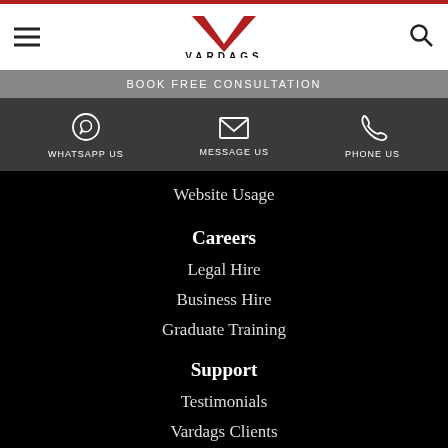VARDAGS
BOOK FREE CONSULTATION
WHATSAPP US  MESSAGE US  PHONE US
Website Usage
Careers
Legal Hire
Business Hire
Graduate Training
Support
Testimonials
Vardags Clients
Funding your case